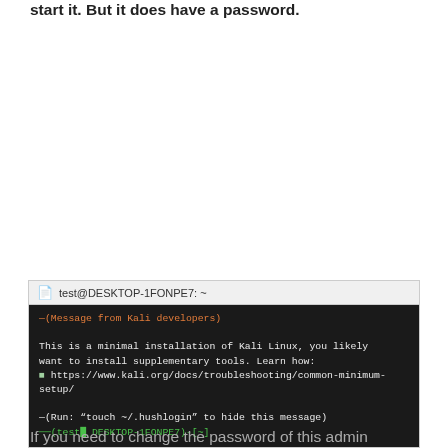start it. But it does have a password.
[Figure (screenshot): Terminal window showing a Kali Linux minimal installation message with the prompt: '(Message from Kali developers)' in orange, followed by text about minimal installation and a URL, and a run instruction, with a green shell prompt at the bottom.]
If you need to change the password of this admin